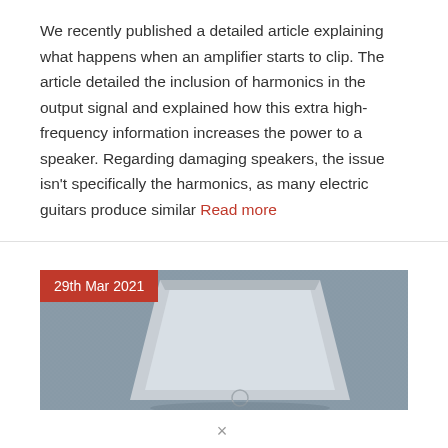We recently published a detailed article explaining what happens when an amplifier starts to clip. The article detailed the inclusion of harmonics in the output signal and explained how this extra high-frequency information increases the power to a speaker. Regarding damaging speakers, the issue isn't specifically the harmonics, as many electric guitars produce similar Read more
[Figure (photo): Photo of a laptop partially visible on a grey fabric surface, with a date badge '29th Mar 2021' in red in the top-left corner]